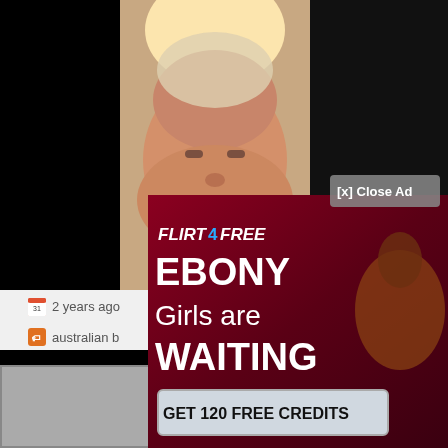[Figure (screenshot): Screenshot of a video chat website showing an elderly overweight woman on webcam against a bright backlight, with black panels on left and right sides. Below the video area shows a timestamp '2 years ago' and tags including 'australian'. A popup advertisement from Flirt4Free overlays the lower portion, showing text 'EBONY Girls are WAITING' and 'GET 120 FREE CREDITS' with a '[x] Close Ad' button.]